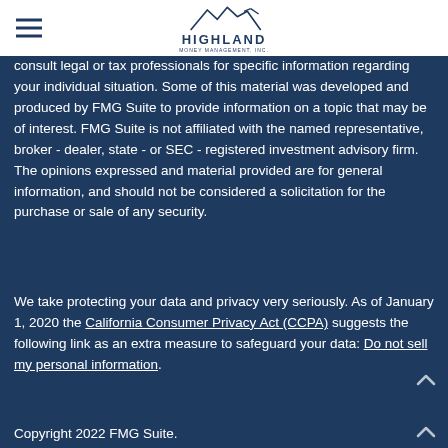Highland Money Management, Inc.
consult legal or tax professionals for specific information regarding your individual situation. Some of this material was developed and produced by FMG Suite to provide information on a topic that may be of interest. FMG Suite is not affiliated with the named representative, broker - dealer, state - or SEC - registered investment advisory firm. The opinions expressed and material provided are for general information, and should not be considered a solicitation for the purchase or sale of any security.
We take protecting your data and privacy very seriously. As of January 1, 2020 the California Consumer Privacy Act (CCPA) suggests the following link as an extra measure to safeguard your data: Do not sell my personal information.
Copyright 2022 FMG Suite.